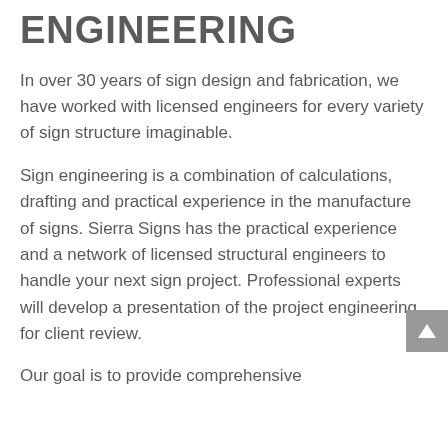ENGINEERING
In over 30 years of sign design and fabrication, we have worked with licensed engineers for every variety of sign structure imaginable.
Sign engineering is a combination of calculations, drafting and practical experience in the manufacture of signs. Sierra Signs has the practical experience and a network of licensed structural engineers to handle your next sign project. Professional experts will develop a presentation of the project engineering for client review.
Our goal is to provide comprehensive